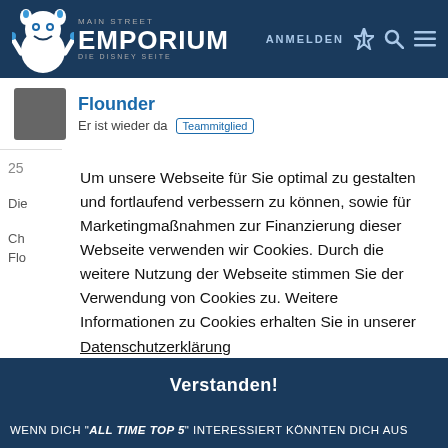MAIN STREET EMPORIUM – DIE DISNEY SEITE | ANMELDEN
Flounder
Er ist wieder da  Teammitglied
25
Die
Ch
Flo
Um unsere Webseite für Sie optimal zu gestalten und fortlaufend verbessern zu können, sowie für Marketingmaßnahmen zur Finanzierung dieser Webseite verwenden wir Cookies. Durch die weitere Nutzung der Webseite stimmen Sie der Verwendung von Cookies zu. Weitere Informationen zu Cookies erhalten Sie in unserer
Datenschutzerklärung
Verstanden!
WENN DICH "ALL TIME TOP 5" INTERESSIERT KÖNNTEN DICH AUCH AUS